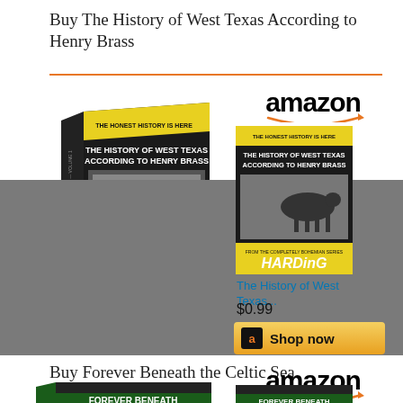Buy The History of West Texas According to Henry Brass
[Figure (illustration): 3D book cover of 'The History of West Texas According to Henry Brass' (Harding) in perspective view showing black/yellow cover with cowboy photo]
[Figure (logo): Amazon logo with orange arrow]
[Figure (illustration): Thumbnail of 'The History of West Texas According to Henry Brass' (Harding) book cover — flat front view]
The History of West Texas...
$0.99
Shop now
Buy Forever Beneath the Celtic Sea
[Figure (logo): Amazon logo with orange arrow]
[Figure (illustration): Partial view of 'Forever Beneath the Celtic Sea' book covers]